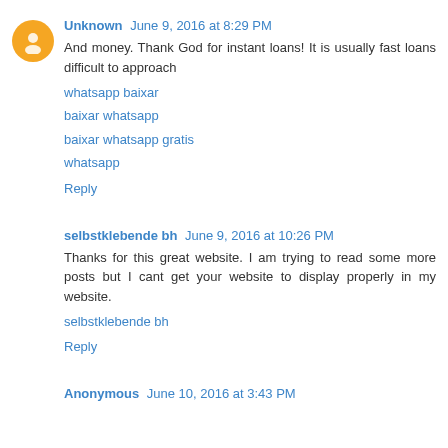Unknown June 9, 2016 at 8:29 PM
And money. Thank God for instant loans! It is usually fast loans difficult to approach
whatsapp baixar
baixar whatsapp
baixar whatsapp gratis
whatsapp
Reply
selbstklebende bh June 9, 2016 at 10:26 PM
Thanks for this great website. I am trying to read some more posts but I cant get your website to display properly in my website.
selbstklebende bh
Reply
Anonymous June 10, 2016 at 3:43 PM